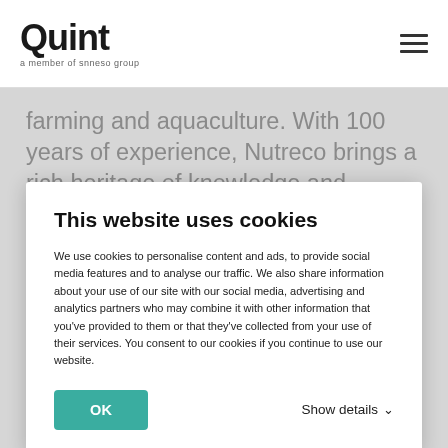Quint — a member of snneso group
farming and aquaculture. With 100 years of experience, Nutreco brings a rich heritage of knowledge and expertise to the markets. Nutreco employs approximately 11,000 people in 35
This website uses cookies
We use cookies to personalise content and ads, to provide social media features and to analyse our traffic. We also share information about your use of our site with our social media, advertising and analytics partners who may combine it with other information that you've provided to them or that they've collected from your use of their services. You consent to our cookies if you continue to use our website.
OK   Show details
embedding these improvements within the IT